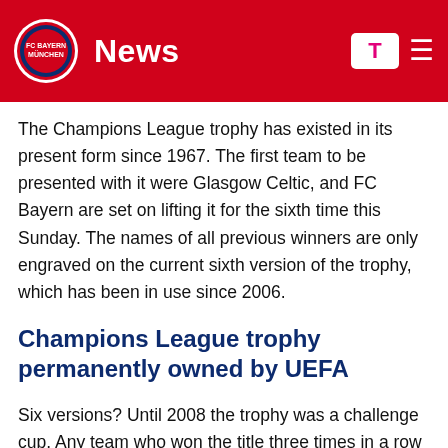News
The Champions League trophy has existed in its present form since 1967. The first team to be presented with it were Glasgow Celtic, and FC Bayern are set on lifting it for the sixth time this Sunday. The names of all previous winners are only engraved on the current sixth version of the trophy, which has been in use since 2006.
Champions League trophy permanently owned by UEFA
Six versions? Until 2008 the trophy was a challenge cup. Any team who won the title three times in a row (like FC Bayern between 1974 and 1976) or a total of five times were allowed to keep it. That's why, in addition to FCB, Real Madrid, Ajax, AC Milan and last year's winners Liverpool also have an original cup in their trophy cabinet. This was